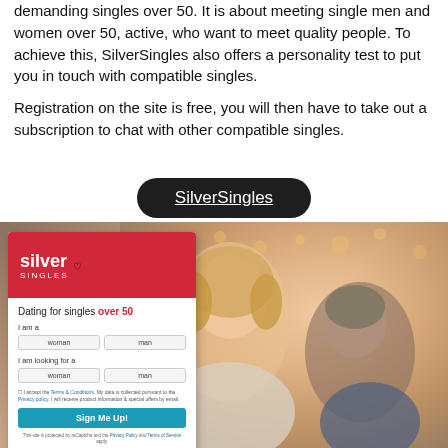demanding singles over 50. It is about meeting single men and women over 50, active, who want to meet quality people. To achieve this, SilverSingles also offers a personality test to put you in touch with compatible singles.
Registration on the site is free, you will then have to take out a subscription to chat with other compatible singles.
SilverSingles
[Figure (screenshot): SilverSingles website screenshot showing a registration form with the Silver Singles logo in red, text 'Dating for singles over 50', form fields 'I am a' with woman/man buttons, 'I am looking for a' with woman/man buttons, terms and conditions checkbox, a 'Sign Me Up!' button, and a photo of a smiling middle-aged blonde woman with a man in the background.]